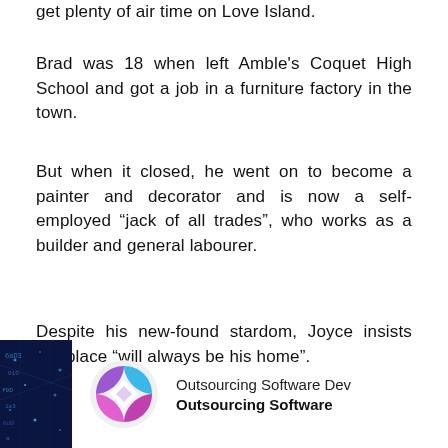get plenty of air time on Love Island.
Brad was 18 when left Amble's Coquet High School and got a job in a furniture factory in the town.
But when it closed, he went on to become a painter and decorator and is now a self-employed “jack of all trades”, who works as a builder and general labourer.
Despite his new-found stardom, Joyce insists her place “will always be his home”.
[Figure (logo): Outsourcing Software Dev advertisement with logo - a colorful diamond/rhombus shaped icon in purple, blue, and pink, with company name 'Outsourcing Software Dev' and subtitle 'Outsourcing Software']